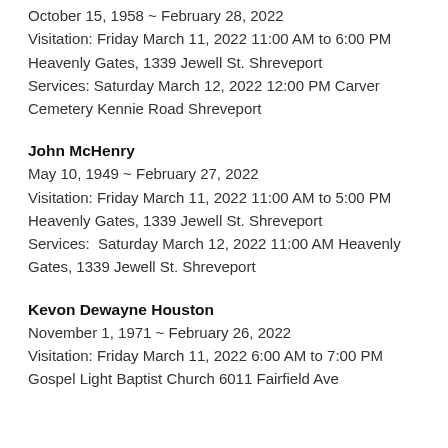October 15, 1958 ~ February 28, 2022
Visitation: Friday March 11, 2022 11:00 AM to 6:00 PM
Heavenly Gates, 1339 Jewell St. Shreveport
Services: Saturday March 12, 2022 12:00 PM Carver Cemetery Kennie Road Shreveport
John McHenry
May 10, 1949 ~ February 27, 2022
Visitation: Friday March 11, 2022 11:00 AM to 5:00 PM
Heavenly Gates, 1339 Jewell St. Shreveport
Services:  Saturday March 12, 2022 11:00 AM Heavenly Gates, 1339 Jewell St. Shreveport
Kevon Dewayne Houston
November 1, 1971 ~ February 26, 2022
Visitation: Friday March 11, 2022 6:00 AM to 7:00 PM
Gospel Light Baptist Church 6011 Fairfield Ave